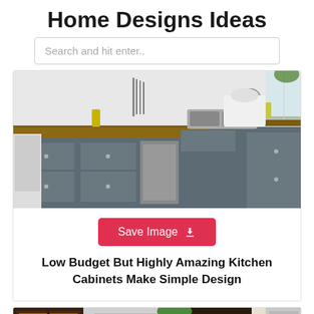Home Designs Ideas
Search and hit enter..
[Figure (photo): Kitchen with grey cabinets, wooden butcher block countertops, stainless sink, knife rack, and stand mixer]
Save Image
Low Budget But Highly Amazing Kitchen Cabinets Make Simple Design
[Figure (photo): Partial view of another kitchen design at the bottom of the page]